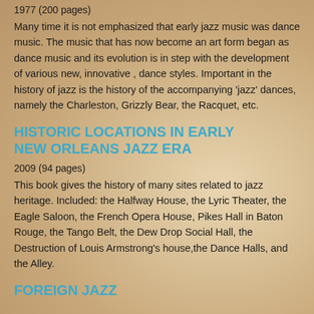1977 (200 pages)
Many time it is not emphasized that early jazz music was dance music. The music that has now become an art form began as dance music and its evolution is in step with the development of various new, innovative , dance styles. Important in the history of jazz is the history of the accompanying ‘jazz’ dances, namely the Charleston, Grizzly Bear, the Racquet, etc.
HISTORIC LOCATIONS IN EARLY NEW ORLEANS JAZZ ERA
2009 (94 pages)
This book gives the history of many sites related to jazz heritage. Included: the Halfway House, the Lyric Theater, the Eagle Saloon, the French Opera House, Pikes Hall in Baton Rouge, the Tango Belt, the Dew Drop Social Hall, the Destruction of Louis Armstrong’s house,the Dance Halls, and the Alley.
FOREIGN JAZZ